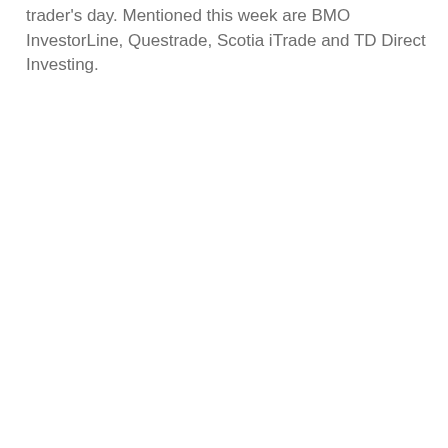trader's day. Mentioned this week are BMO InvestorLine, Questrade, Scotia iTrade and TD Direct Investing.